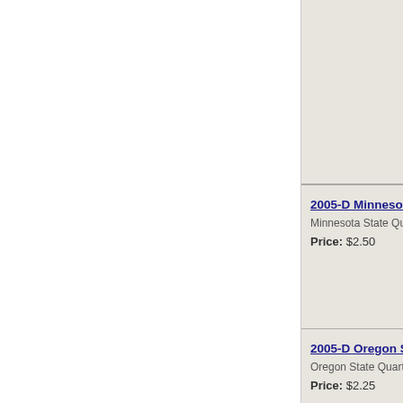2005-D Minnesota Sta
Minnesota State Quarte
Price: $2.50
2005-D Oregon Stateh
Oregon State Quarter r
Price: $2.25